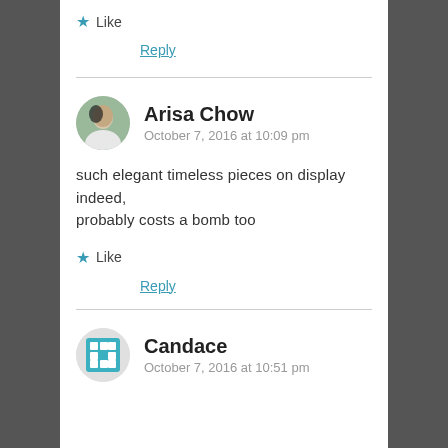★ Like
Reply
Arisa Chow
October 7, 2016 at 10:09 pm
such elegant timeless pieces on display indeed, probably costs a bomb too
★ Like
Reply
Candace
October 7, 2016 at 10:51 pm